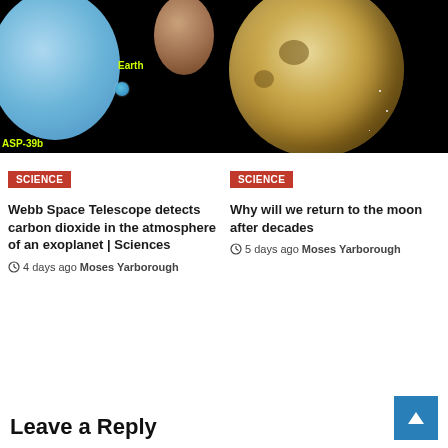[Figure (photo): Space comparison image showing a large blue planet (WASP-39b), Jupiter-like planet, and Earth labeled with yellow text on black background]
[Figure (photo): Full moon photograph against black starry night sky]
SCIENCE
Webb Space Telescope detects carbon dioxide in the atmosphere of an exoplanet | Sciences
4 days ago  Moses Yarborough
SCIENCE
Why will we return to the moon after decades
5 days ago  Moses Yarborough
Leave a Reply